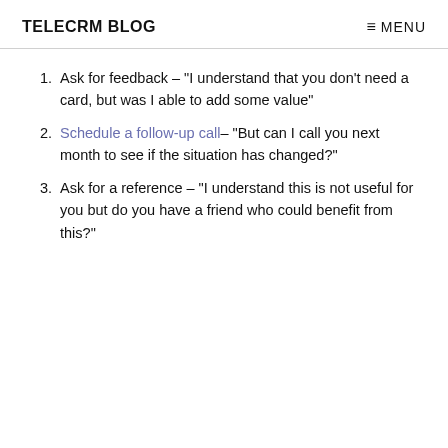TELECRM BLOG    ≡ MENU
Ask for feedback – "I understand that you don't need a card, but was I able to add some value"
Schedule a follow-up call– "But can I call you next month to see if the situation has changed?"
Ask for a reference – "I understand this is not useful for you but do you have a friend who could benefit from this?"